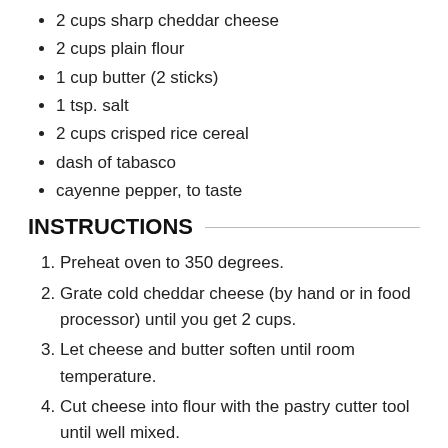2 cups sharp cheddar cheese
2 cups plain flour
1 cup butter (2 sticks)
1 tsp. salt
2 cups crisped rice cereal
dash of tabasco
cayenne pepper, to taste
INSTRUCTIONS
Preheat oven to 350 degrees.
Grate cold cheddar cheese (by hand or in food processor) until you get 2 cups.
Let cheese and butter soften until room temperature.
Cut cheese into flour with the pastry cutter tool until well mixed.
Add remaining ingredients, crisped rice cereal last.
Mix with your hands to combine and roll into small 2-inch balls.